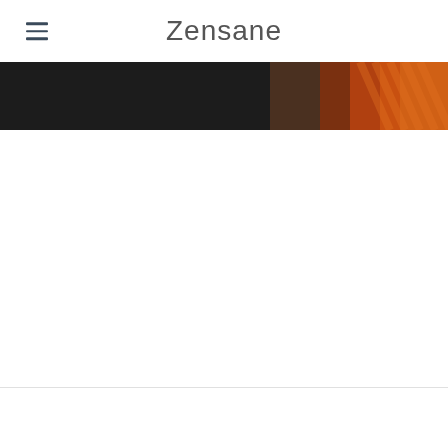Zensane
[Figure (photo): Dark hero banner image with orange/warm tones on the right side, dark background on the left]